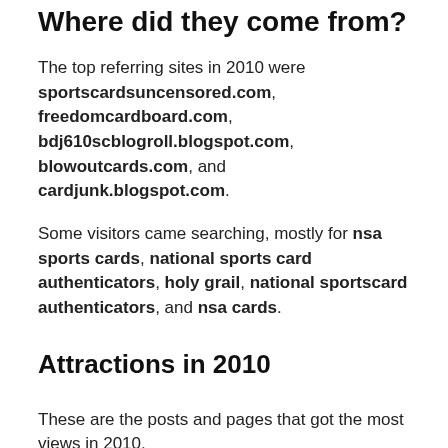Where did they come from?
The top referring sites in 2010 were sportscardsuncensored.com, freedomcardboard.com, bdj610scblogroll.blogspot.com, blowoutcards.com, and cardjunk.blogspot.com.
Some visitors came searching, mostly for nsa sports cards, national sports card authenticators, holy grail, national sportscard authenticators, and nsa cards.
Attractions in 2010
These are the posts and pages that got the most views in 2010.
1. Panini Introduces The First Michael Jackson